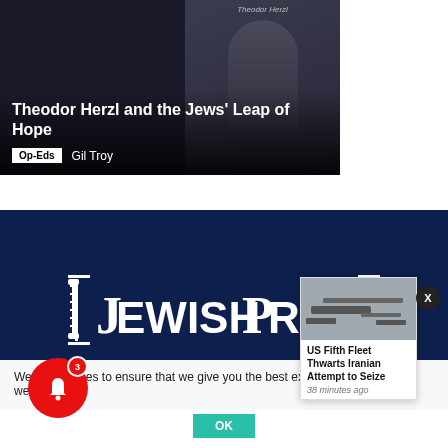[Figure (photo): Article card with dark background showing Theodor Herzl image, title overlay, Op-Eds tag, and author Gil Troy]
Theodor Herzl and the Jews' Leap of Hope
Op-Eds   Gil Troy
[Figure (logo): JewishPress.com logo on dark navy background]
We use cookies to ensure that we give you the best experience on our website. If yo
[Figure (photo): Small thumbnail of ship/naval vessel for US Fifth Fleet news story]
US Fifth Fleet Thwarts Iranian Attempt to Seize
38 minutes ago